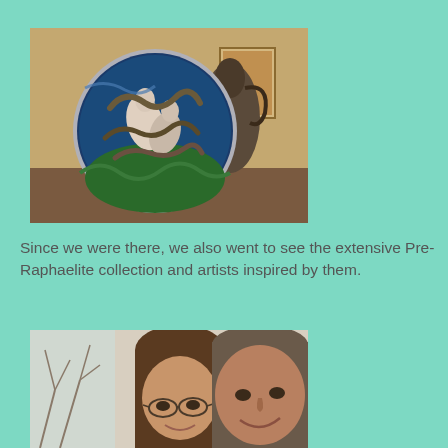[Figure (photo): A decorative circular enamel or glass platter featuring a sculptural scene of intertwined figures surrounded by serpents, displayed on a table in a museum gallery setting with other artworks visible in the background.]
Since we were there, we also went to see the extensive Pre-Raphaelite collection and artists inspired by them.
[Figure (photo): A selfie of a man and woman smiling, taken indoors near a window with bare trees visible outside.]